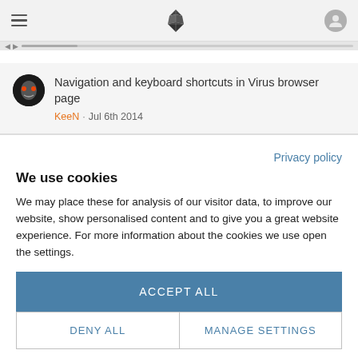Navigation bar with hamburger menu, logo, and user icon
[Figure (screenshot): Partial scrollbar area with navigation arrows and horizontal scroll indicator]
Navigation and keyboard shortcuts in Virus browser page
KeeN · Jul 6th 2014
Privacy policy
We use cookies
We may place these for analysis of our visitor data, to improve our website, show personalised content and to give you a great website experience. For more information about the cookies we use open the settings.
ACCEPT ALL
DENY ALL
MANAGE SETTINGS